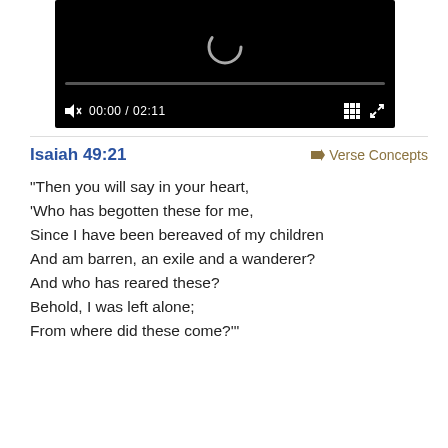[Figure (screenshot): Video player with black background, loading spinner, progress bar, and controls showing 00:00 / 02:11 with mute, grid, and fullscreen buttons]
Isaiah 49:21
➡ Verse Concepts
“Then you will say in your heart,
‘Who has begotten these for me,
Since I have been bereaved of my children
And am barren, an exile and a wanderer?
And who has reared these?
Behold, I was left alone;
From where did these come?’”